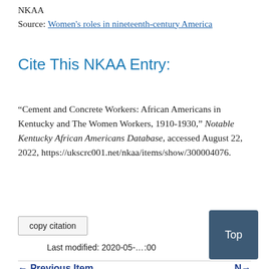NKAA
Source: Women's roles in nineteenth-century America
Cite This NKAA Entry:
“Cement and Concrete Workers: African Americans in Kentucky and The Women Workers, 1910-1930,” Notable Kentucky African Americans Database, accessed August 22, 2022, https://ukscrc001.net/nkaa/items/show/300004076.
copy citation
← Previous Item
N →
Top
Last modified: 2020-05-…:00